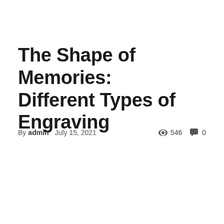The Shape of Memories: Different Types of Engraving
By admin   July 15, 2021   👁 546   💬 0